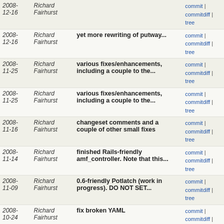| Date | Author | Message | Links |
| --- | --- | --- | --- |
| 2008-12-16 | Richard Fairhurst | yet more rewriting of putway... | commit | commitdiff | tree |
| 2008-11-25 | Richard Fairhurst | various fixes/enhancements, including a couple to the... | commit | commitdiff | tree |
| 2008-11-25 | Richard Fairhurst | various fixes/enhancements, including a couple to the... | commit | commitdiff | tree |
| 2008-11-16 | Richard Fairhurst | changeset comments and a couple of other small fixes | commit | commitdiff | tree |
| 2008-11-14 | Richard Fairhurst | finished Rails-friendly amf_controller. Note that this... | commit | commitdiff | tree |
| 2008-11-09 | Richard Fairhurst | 0.6-friendly Potlatch (work in progress). DO NOT SET... | commit | commitdiff | tree |
| 2008-10-24 | Richard Fairhurst | fix broken YAML | commit | commitdiff | tree |
| 2008-10-23 | Richard Fairhurst | Potlatch 0.10f | commit | commitdiff | tree |
| 2008-10-13 | Richard Fairhurst | disable z12 | commit | commitdiff | tree |
| 2008-10-12 | Richard Fairhurst | Potlatch 0.10e | commit | commitdiff | tree |
| 2008-10-05 | Richard Fairhurst | add railway=platform | commit | commitdiff | tree |
| 2008-10-05 | Richard Fairhurst | slight fix to prevent empty tag values | commit | commitdiff | tree |
| 2008-10-05 | Richard Fairhurst | Potlatch 0.10d | commit | commitdiff | tree |